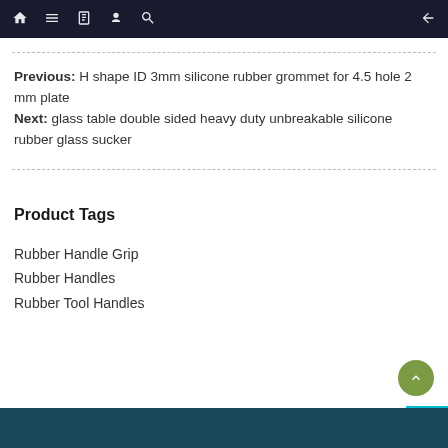Navigation bar with home, menu, book, user, search icons and back arrow
Previous:  H shape ID 3mm silicone rubber grommet for 4.5 hole 2 mm plate
Next:  glass table double sided heavy duty unbreakable silicone rubber glass sucker
Product Tags
Rubber Handle Grip
Rubber Handles
Rubber Tool Handles
Footer bar